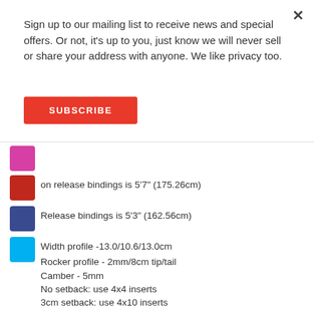Sign up to our mailing list to receive news and special offers. Or not, it's up to you, just know we will never sell or share your address with anyone. We like privacy too.
SUBSCRIBE
on release bindings is 5'7" (175.26cm)
Release bindings is 5'3" (162.56cm)
Width profile -13.0/10.6/13.0cm
Rocker profile - 2mm/8cm tip/tail
Camber - 5mm
No setback: use 4x4 inserts
3cm setback: use 4x10 inserts
All RVL8 skiboards feature the best ingredients available:
Stainless Steel 4cm x 4cm +2 inserts (4x4+2 inserts allow